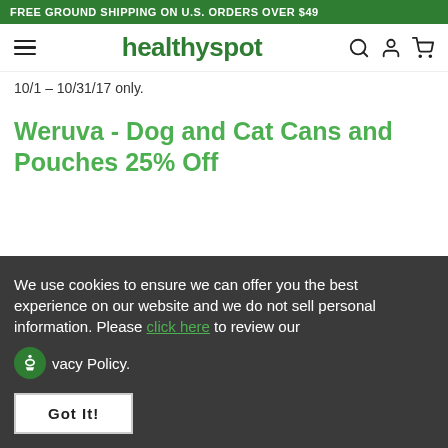FREE GROUND SHIPPING ON U.S. ORDERS OVER $49
healthyspot
10/1 – 10/31/17 only.
Weruva - Dog and Cat Cans and Pouches 25% Off
We use cookies to ensure we can offer you the best experience on our website and we do not sell personal information. Please click here to review our Privacy Policy.
Got It!